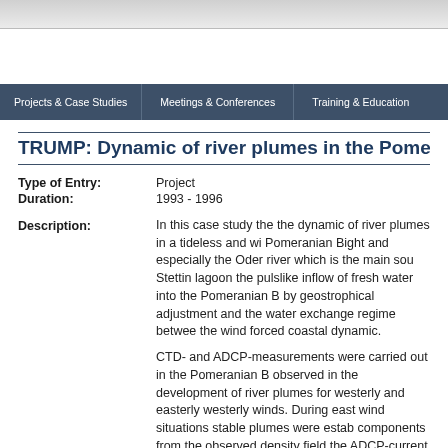Projects & Case Studies | Meetings & Conferences | Training & Education
TRUMP: Dynamic of river plumes in the Pomeranian Bight
| Type of Entry: | Project |
| Duration: | 1993 - 1996 |
In this case study the the dynamic of river plumes in a tideless and windforced coastal sea the Pomeranian Bight and especially the Oder river which is the main source of freshwater in the Stettin lagoon the pulslike inflow of fresh water into the Pomeranian Bight were investigated by geostrophical adjustment and the water exchange regime between the lagoon and the sea and the wind forced coastal dynamic.
CTD- and ADCP-measurements were carried out in the Pomeranian Bight. Different behaviors were observed in the development of river plumes for westerly and easterly winds compared to southerly and westerly winds. During east wind situations stable plumes were established. To separate the baroclinic components from the observed density field the ADCP-current measurements were used.